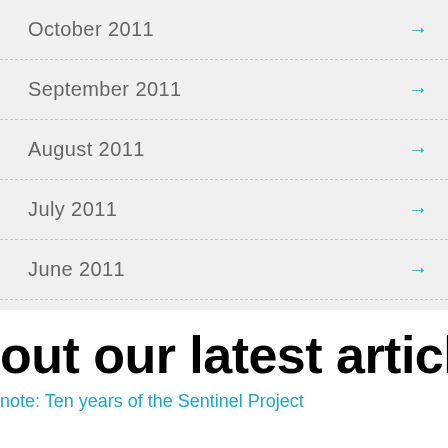October 2011
September 2011
August 2011
July 2011
June 2011
out our latest article
note: Ten years of the Sentinel Project
January 2011